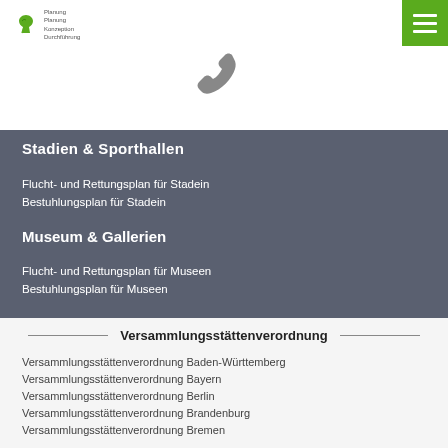[Figure (logo): Green horse/animal logo with text lines next to it]
[Figure (illustration): Gray telephone handset icon]
Stadien & Sporthallen
Flucht- und Rettungsplan für Stadein
Bestuhlungsplan für Stadein
Museum & Gallerien
Flucht- und Rettungsplan für Museen
Bestuhlungsplan für Museen
Versammlungsstättenverordnung
Versammlungsstättenverordnung Baden-Württemberg
Versammlungsstättenverordnung Bayern
Versammlungsstättenverordnung Berlin
Versammlungsstättenverordnung Brandenburg
Versammlungsstättenverordnung Bremen